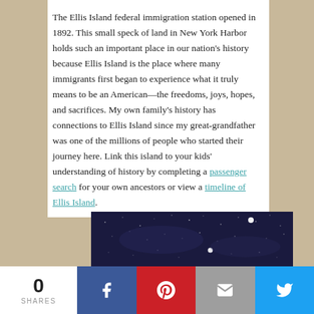The Ellis Island federal immigration station opened in 1892. This small speck of land in New York Harbor holds such an important place in our nation's history because Ellis Island is the place where many immigrants first began to experience what it truly means to be an American—the freedoms, joys, hopes, and sacrifices. My own family's history has connections to Ellis Island since my great-grandfather was one of the millions of people who started their journey here. Link this island to your kids' understanding of history by completing a passenger search for your own ancestors or view a timeline of Ellis Island.
[Figure (photo): Night sky with stars on a dark navy blue background]
0 SHARES | Facebook | Pinterest | Email | Twitter